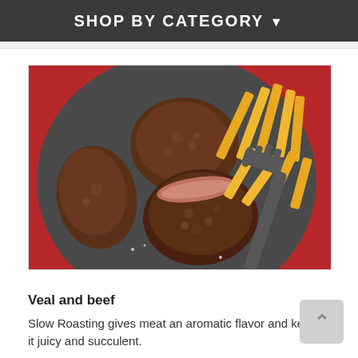SHOP BY CATEGORY
[Figure (photo): Overhead photo of cooked steak pieces sliced to show pink interior, served on a dark round plate with golden french fries and a dark fork, on a red background]
Veal and beef
Slow Roasting gives meat an aromatic flavor and keeps it juicy and succulent.